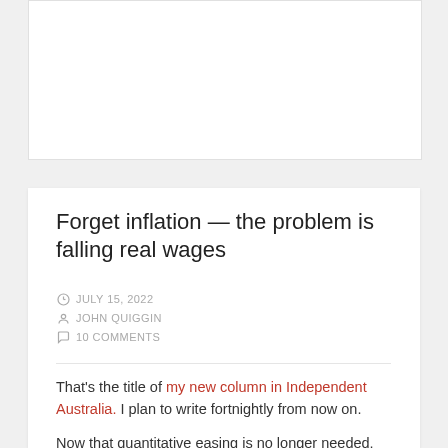[Figure (other): White advertisement/image placeholder box at top of page]
Forget inflation — the problem is falling real wages
JULY 15, 2022
JOHN QUIGGIN
10 COMMENTS
That's the title of my new column in Independent Australia. I plan to write fortnightly from now on.
Now that quantitative easing is no longer needed,